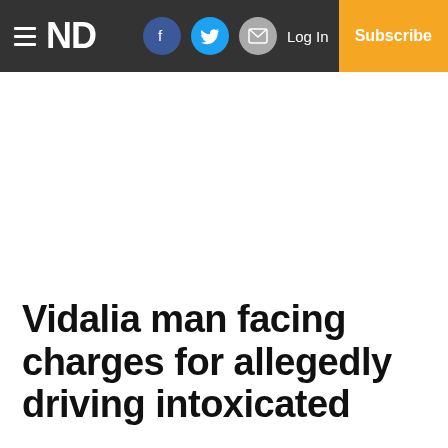≡ ND  Log In  Subscribe
Vidalia man facing charges for allegedly driving intoxicated